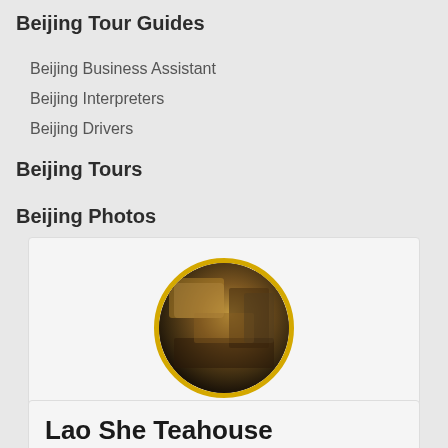Beijing Tour Guides
Beijing Business Assistant
Beijing Interpreters
Beijing Drivers
Beijing Tours
Beijing Photos
[Figure (photo): Circular profile photo of a hotel room interior with warm lighting, framed by a gold/yellow circular border. Below the photo: 'By Zanine Wolf,' text and a grey 'Visit Their Profile' button.]
By Zanine Wolf,
Visit Their Profile
Lao She Teahouse